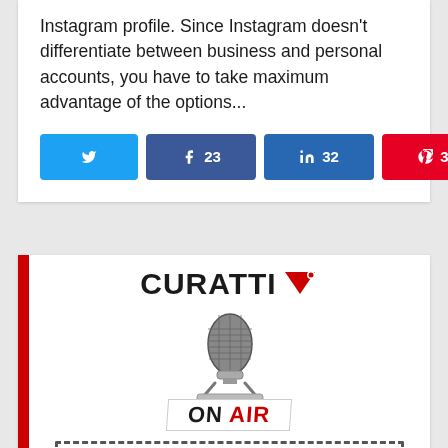Instagram profile. Since Instagram doesn't differentiate between business and personal accounts, you have to take maximum advantage of the options...
[Figure (infographic): Social share buttons row: Twitter (no count), Facebook (23), LinkedIn (32), Pinterest (32), and total 205 SHARES with share icon]
[Figure (logo): Curatti On Air logo: red left stripe, CURATTI with red inverted triangle logo, microphone illustration, 'ON AIR' text with AIR in red, dashed rectangle at bottom]